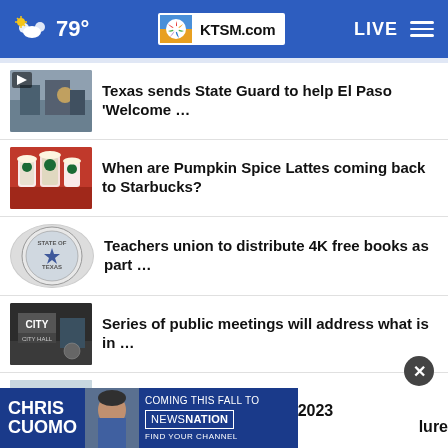79° KTSM.com LIVE
Texas sends State Guard to help El Paso 'Welcome …
When are Pumpkin Spice Lattes coming back to Starbucks?
Teachers union to distribute 4K free books as part …
Series of public meetings will address what is in …
Nissan Maxima dies after 2023
[Figure (screenshot): Chris Cuomo – Coming this fall to NewsNation advertisement banner]
lure